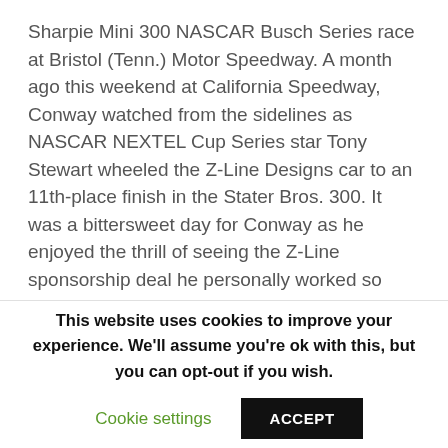Sharpie Mini 300 NASCAR Busch Series race at Bristol (Tenn.) Motor Speedway. A month ago this weekend at California Speedway, Conway watched from the sidelines as NASCAR NEXTEL Cup Series star Tony Stewart wheeled the Z-Line Designs car to an 11th-place finish in the Stater Bros. 300. It was a bittersweet day for Conway as he enjoyed the thrill of seeing the Z-Line sponsorship deal he personally worked so long and hard for take to the track for the very first time. But deep down inside, his mind was already focused on Bristol, where he'll get his first chance to drive the Z-Line Designs Chevrolet at one of the most action-packed venues on the NASCAR circuit.
This website uses cookies to improve your experience. We'll assume you're ok with this, but you can opt-out if you wish.
Cookie settings   ACCEPT